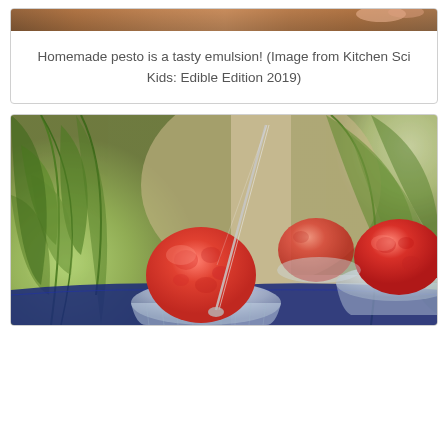[Figure (photo): Top strip of image showing wooden background, part of a pesto or food preparation scene]
Homemade pesto is a tasty emulsion! (Image from Kitchen Sci Kids: Edible Edition 2019)
[Figure (photo): Photo of red/pink sorbet scoops served in crystal glass bowls with a long spoon, set against a background of green tropical plants]